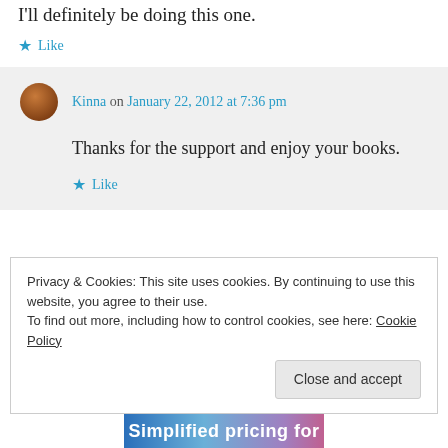I'll definitely be doing this one.
★ Like
Kinna on January 22, 2012 at 7:36 pm
Thanks for the support and enjoy your books.
★ Like
Privacy & Cookies: This site uses cookies. By continuing to use this website, you agree to their use.
To find out more, including how to control cookies, see here: Cookie Policy
Close and accept
Simplified pricing for